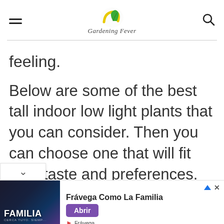Gardening Fever
feeling.
Below are some of the best tall indoor low light plants that you can consider. Then you can choose one that will fit your taste and preferences.
[Figure (infographic): Advertisement banner: Frávega Como La Familia with purple Abrir button and Frávega branding]